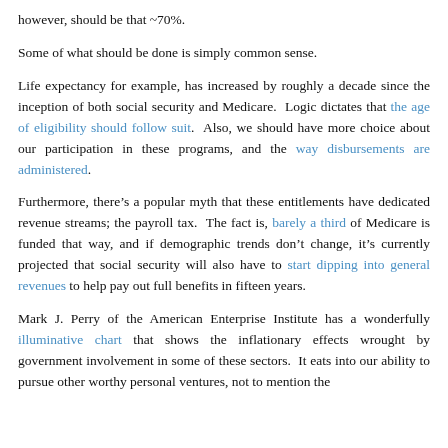however, should be that ~70%.
Some of what should be done is simply common sense.
Life expectancy for example, has increased by roughly a decade since the inception of both social security and Medicare. Logic dictates that the age of eligibility should follow suit. Also, we should have more choice about our participation in these programs, and the way disbursements are administered.
Furthermore, there’s a popular myth that these entitlements have dedicated revenue streams; the payroll tax. The fact is, barely a third of Medicare is funded that way, and if demographic trends don’t change, it’s currently projected that social security will also have to start dipping into general revenues to help pay out full benefits in fifteen years.
Mark J. Perry of the American Enterprise Institute has a wonderfully illuminative chart that shows the inflationary effects wrought by government involvement in some of these sectors. It eats into our ability to pursue other worthy personal ventures, not to mention the